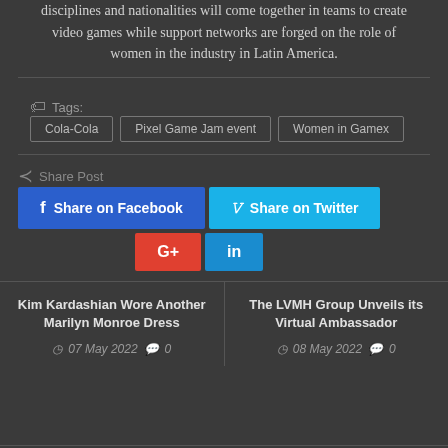disciplines and nationalities will come together in teams to create video games while support networks are forged on the role of women in the industry in Latin America.
Tags: Cola-Cola  Pixel Game Jam event  Women in Gamex
Share Post  Share on Facebook  Share on Twitter  G+  in
Kim Kardashian Wore Another Marilyn Monroe Dress
07 May 2022  0
The LVMH Group Unveils its Virtual Ambassador
08 May 2022  0